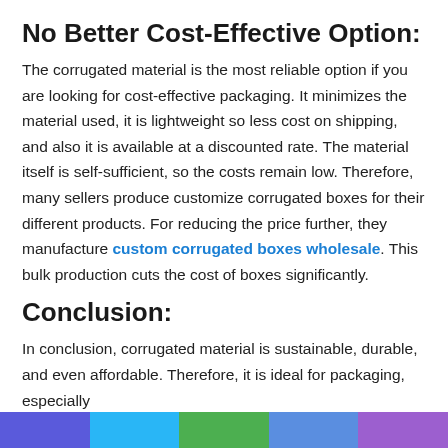No Better Cost-Effective Option:
The corrugated material is the most reliable option if you are looking for cost-effective packaging. It minimizes the material used, it is lightweight so less cost on shipping, and also it is available at a discounted rate. The material itself is self-sufficient, so the costs remain low. Therefore, many sellers produce customize corrugated boxes for their different products. For reducing the price further, they manufacture custom corrugated boxes wholesale. This bulk production cuts the cost of boxes significantly.
Conclusion:
In conclusion, corrugated material is sustainable, durable, and even affordable. Therefore, it is ideal for packaging, especially